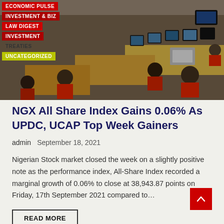[Figure (photo): Trading floor photo showing workers in red uniforms at computer workstations in a stock exchange]
ECONOMIC PULSE
INVESTMENT & BIZ
LAW DIGEST
INVESTMENT
TREATIES
UNCATEGORIZED
NGX All Share Index Gains 0.06% As UPDC, UCAP Top Week Gainers
admin   September 18, 2021
Nigerian Stock market closed the week on a slightly positive note as the performance index, All-Share Index recorded a marginal growth of 0.06% to close at 38,943.87 points on Friday, 17th September 2021 compared to…
READ MORE